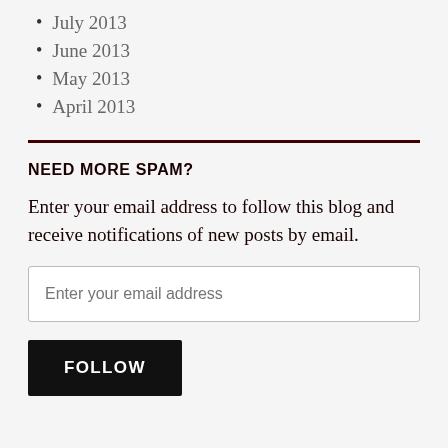July 2013
June 2013
May 2013
April 2013
NEED MORE SPAM?
Enter your email address to follow this blog and receive notifications of new posts by email.
Enter your email address
FOLLOW